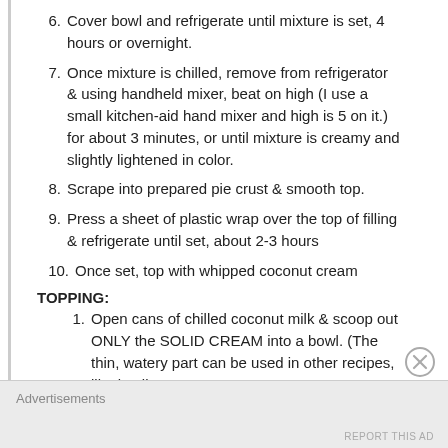6. Cover bowl and refrigerate until mixture is set, 4 hours or overnight.
7. Once mixture is chilled, remove from refrigerator & using handheld mixer, beat on high (I use a small kitchen-aid hand mixer and high is 5 on it.) for about 3 minutes, or until mixture is creamy and slightly lightened in color.
8. Scrape into prepared pie crust & smooth top.
9. Press a sheet of plastic wrap over the top of filling & refrigerate until set, about 2-3 hours
10. Once set, top with whipped coconut cream
TOPPING:
1. Open cans of chilled coconut milk & scoop out ONLY the SOLID CREAM into a bowl. (The thin, watery part can be used in other recipes, like lentil
Advertisements